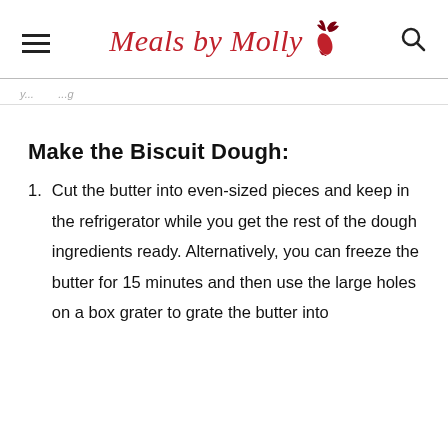Meals by Molly
y...g
Make the Biscuit Dough:
Cut the butter into even-sized pieces and keep in the refrigerator while you get the rest of the dough ingredients ready. Alternatively, you can freeze the butter for 15 minutes and then use the large holes on a box grater to grate the butter into